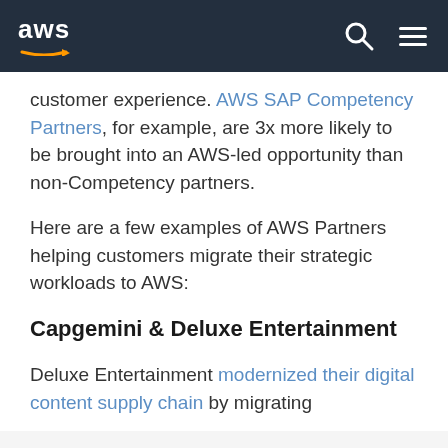aws (logo with navigation)
customer experience. AWS SAP Competency Partners, for example, are 3x more likely to be brought into an AWS-led opportunity than non-Competency partners.
Here are a few examples of AWS Partners helping customers migrate their strategic workloads to AWS:
Capgemini & Deluxe Entertainment
Deluxe Entertainment modernized their digital content supply chain by migrating